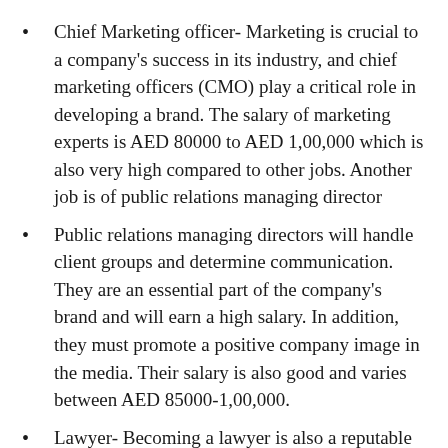Chief Marketing officer- Marketing is crucial to a company's success in its industry, and chief marketing officers (CMO) play a critical role in developing a brand. The salary of marketing experts is AED 80000 to AED 1,00,000 which is also very high compared to other jobs. Another job is of public relations managing director
Public relations managing directors will handle client groups and determine communication. They are an essential part of the company's brand and will earn a high salary. In addition, they must promote a positive company image in the media. Their salary is also good and varies between AED 85000-1,00,000.
Lawyer- Becoming a lawyer is also a reputable job with a high salary. Every business – regardless of its industry – will require legal advice and guidance.